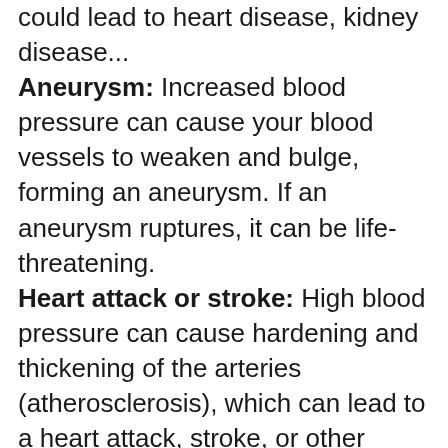could lead to heart disease, kidney disease... Aneurysm: Increased blood pressure can cause your blood vessels to weaken and bulge, forming an aneurysm. If an aneurysm ruptures, it can be life-threatening. Heart attack or stroke: High blood pressure can cause hardening and thickening of the arteries (atherosclerosis), which can lead to a heart attack, stroke, or other complications. Heart failure: To pump blood against the higher pressure in your vessels, your heart muscle thickens. Eventually, the thickened muscle may have a hard time pumping enough blood to meet your body's needs, which can lead to heart failure. Weakened and narrowed blood vessels in your kidneys. This can prevent the proper...